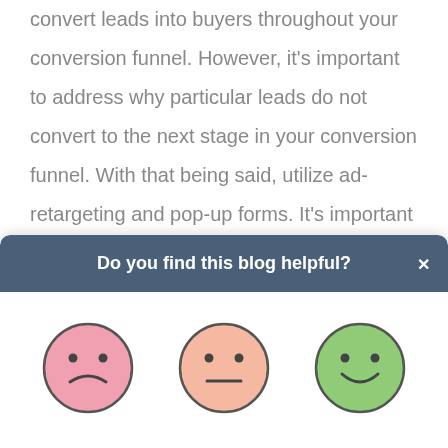convert leads into buyers throughout your conversion funnel. However, it's important to address why particular leads do not convert to the next stage in your conversion funnel. With that being said, utilize ad-retargeting and pop-up forms. It's important to reengage with a past visitor of your website. Remember, it's a lot
[Figure (infographic): A popup dialog with dark blue-gray header asking 'Do you find this blog helpful?' with an X close button. Below are three emoji-style face icons: a sad face (pink/rose color), a neutral face (light salmon/peach color), and a happy face (green color).]